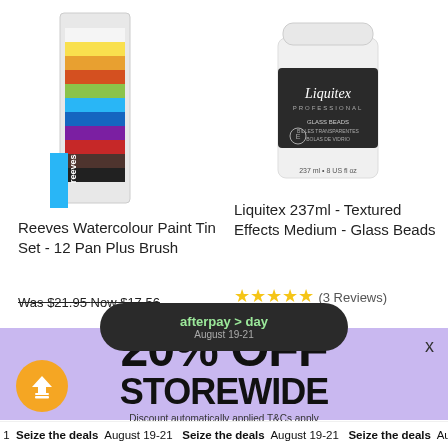[Figure (photo): Reeves Watercolour Paint Tin Set - 12 Pan Plus Brush product image]
[Figure (photo): Liquitex Professional 237ml Textured Effects Medium - Glass Beads jar product image]
Reeves Watercolour Paint Tin Set - 12 Pan Plus Brush
Liquitex 237ml - Textured Effects Medium - Glass Beads
★★★★★ (3 Reviews)
Was $21.95 Now $17.56
[Figure (infographic): Afterpay Day August 19-21 banner overlay]
[Figure (infographic): 20% OFF STOREWIDE promo banner with orange upload icon. Discount automatically applied T&Cs apply]
Seize the deals August 19-21 Seize the deals August 19-21 Seize the deals August 18-21